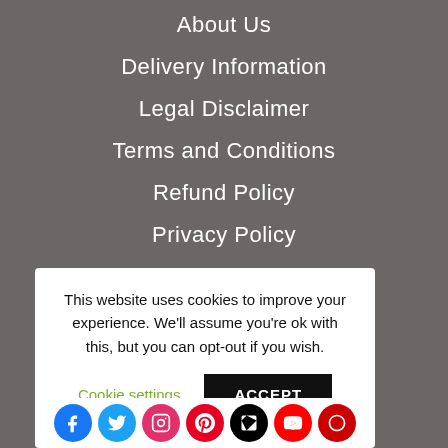About Us
Delivery Information
Legal Disclaimer
Terms and Conditions
Refund Policy
Privacy Policy
This website uses cookies to improve your experience. We'll assume you're ok with this, but you can opt-out if you wish.
Cookie settings
ACCEPT